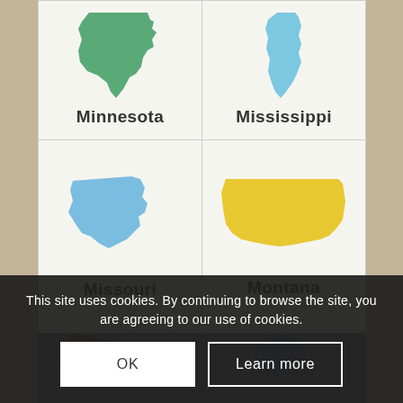[Figure (map): Minnesota state silhouette in green]
Minnesota
[Figure (map): Mississippi state silhouette in light blue]
Mississippi
[Figure (map): Missouri state silhouette in light blue]
Missouri
[Figure (map): Montana state silhouette in yellow]
Montana
[Figure (map): Partially visible state silhouette (bottom row left), darkened by cookie banner overlay]
[Figure (map): Partially visible state silhouette (bottom row right), darkened by cookie banner overlay]
This site uses cookies. By continuing to browse the site, you are agreeing to our use of cookies.
OK
Learn more